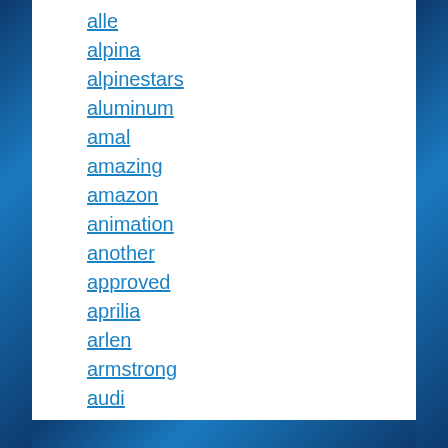alle
alpina
alpinestars
aluminum
amal
amazing
amazon
animation
another
approved
aprilia
arlen
armstrong
audi